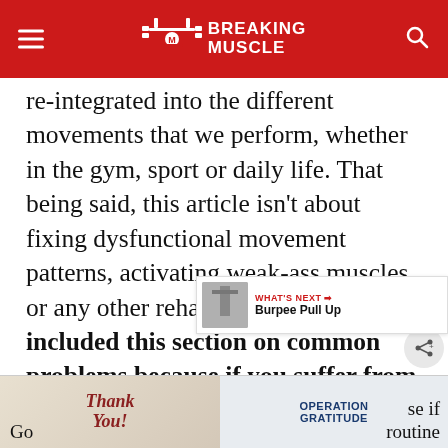BREAKING MUSCLE
re-integrated into the different movements that we perform, whether in the gym, sport or daily life. That being said, this article isn't about fixing dysfunctional movement patterns, activating weak-ass muscles, or any other rehabilitative idea. I've included this section on common problems because if you suffer from any of these issues, there's no way in hell you should try any of the exercises I'm about to show you.
[Figure (screenshot): What's Next box showing thumbnail image and text 'Burpee Pull Up']
[Figure (screenshot): Advertisement banner at the bottom of the page with 'Thank you' and 'Operation Gratitude' imagery]